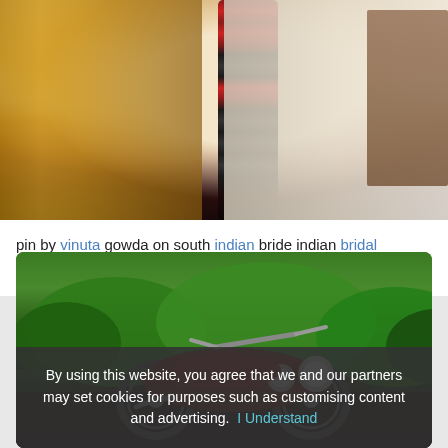[Figure (photo): A woman dressed in traditional South Indian bridal attire with a cream/off-white saree, red and gold jewelry, and a decorative black hair braid with red flowers and tassels]
pin by vinuta gowda on south indian bride indian bridal hairstyles south indian bride indian
[Figure (photo): A red/maroon motorcycle (Royal Enfield style) with chrome details parked in front of green trees/bushes]
By using this website, you agree that we and our partners may set cookies for purposes such as customising content and advertising. I Understand